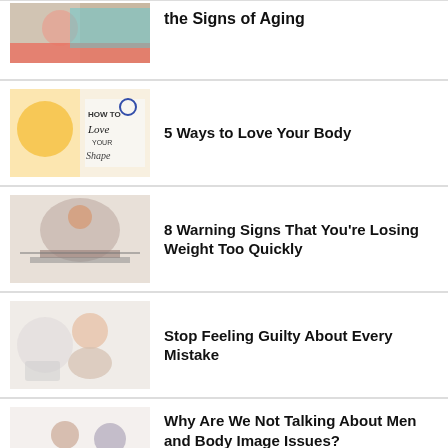[Figure (photo): Person stretching arms wide, partial view of top article about signs of aging]
the Signs of Aging
[Figure (photo): Woman in yellow top with text 'How to Love Your Shape']
5 Ways to Love Your Body
[Figure (photo): Woman on scale with arms raised in victory]
8 Warning Signs That You're Losing Weight Too Quickly
[Figure (photo): Woman looking at a scale with concerned expression]
Stop Feeling Guilty About Every Mistake
[Figure (photo): Two people in conversation, one appears distressed]
Why Are We Not Talking About Men and Body Image Issues?